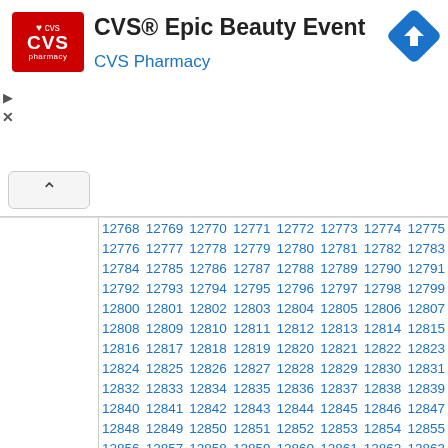[Figure (logo): CVS Pharmacy logo — red rounded rectangle with white CVS text and heart, plus 'pharmacy' subtitle]
CVS® Epic Beauty Event
CVS Pharmacy
[Figure (other): Blue navigation/directions diamond icon in top right corner]
Ad controls: play and close buttons
Collapse chevron button
| 12768 | 12769 | 12770 | 12771 | 12772 | 12773 | 12774 | 12775 |
| 12776 | 12777 | 12778 | 12779 | 12780 | 12781 | 12782 | 12783 |
| 12784 | 12785 | 12786 | 12787 | 12788 | 12789 | 12790 | 12791 |
| 12792 | 12793 | 12794 | 12795 | 12796 | 12797 | 12798 | 12799 |
| 12800 | 12801 | 12802 | 12803 | 12804 | 12805 | 12806 | 12807 |
| 12808 | 12809 | 12810 | 12811 | 12812 | 12813 | 12814 | 12815 |
| 12816 | 12817 | 12818 | 12819 | 12820 | 12821 | 12822 | 12823 |
| 12824 | 12825 | 12826 | 12827 | 12828 | 12829 | 12830 | 12831 |
| 12832 | 12833 | 12834 | 12835 | 12836 | 12837 | 12838 | 12839 |
| 12840 | 12841 | 12842 | 12843 | 12844 | 12845 | 12846 | 12847 |
| 12848 | 12849 | 12850 | 12851 | 12852 | 12853 | 12854 | 12855 |
| 12856 | 12857 | 12858 | 12859 | 12860 | 12861 | 12862 | 12863 |
| 12864 | 12865 | 12866 | 12867 | 12868 | 12869 | 12870 | 12871 |
| 12872 | 12873 | 12874 | 12875 | 12876 | 12877 | 12878 | 12879 |
| 12880 | 12881 | 12882 | 12883 | 12884 | 12885 | 12886 | 12887 |
| 12888 | 12889 | 12890 | 12891 | 12892 | 12893 | 12894 | 12895 |
| 12896 | 12897 | 12898 | 12899 | 12900 | 12901 | 12902 | 12903 |
| 12904 | 12905 | 12906 | 12907 | 12908 | 12909 | 12910 | 12911 |